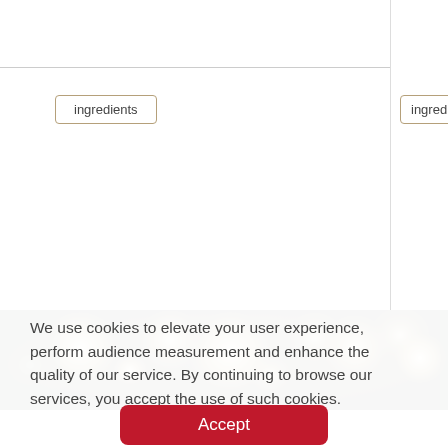[Figure (screenshot): Partial webpage UI showing two 'ingredients' button elements in card-like sections side by side, with a horizontal divider line near the top.]
[Figure (photo): Blurred bokeh background photo of restaurant/event lights in warm golden tones against a dark background.]
We use cookies to elevate your user experience, perform audience measurement and enhance the quality of our service. By continuing to browse our services, you accept the use of such cookies.
Accept